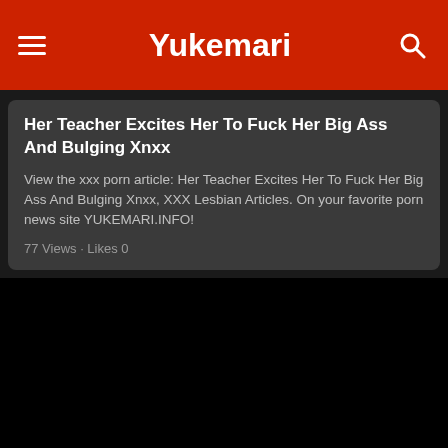Yukemari
Her Teacher Excites Her To Fuck Her Big Ass And Bulging Xnxx
View the xxx porn article: Her Teacher Excites Her To Fuck Her Big Ass And Bulging Xnxx, XXX Lesbian Articles. On your favorite porn news site YUKEMARI.INFO!
77 Views · Likes 0
[Figure (photo): Black/dark video thumbnail]
Blonde Girl Penetrated In Her Sexy Ass